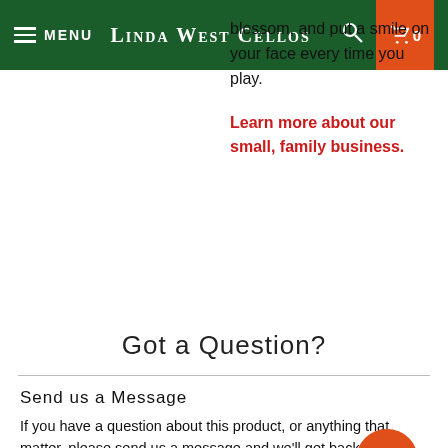MENU | LINDA WEST CELLOS | 0
blossom, and put a smile on your face every time you play.
Learn more about our small, family business.
Got a Question?
Send us a Message
If you have a question about this product, or anything that matter, please send us a message and we'll get back to you right away!